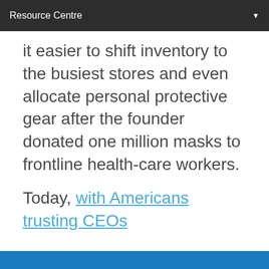Resource Centre
it easier to shift inventory to the busiest stores and even allocate personal protective gear after the founder donated one million masks to frontline health-care workers.
Today, with Americans trusting CEOs
We use cookies to support your experience on our site. Full details of how we use cookies
Manage  Accept